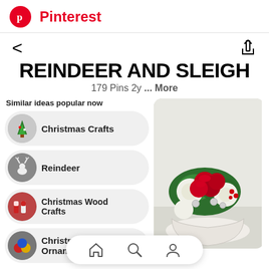Pinterest
< (back) and share icon
REINDEER AND SLEIGH
179 Pins 2y ... More
Similar ideas popular now
Christmas Crafts
Reindeer
Christmas Wood Crafts
Christmas Ornaments
[Figure (photo): Christmas floral arrangement in a white sleigh vase with red roses, white chrysanthemums, greenery, and silver ornaments]
[Figure (other): Bottom navigation bar with home, search, and profile icons]